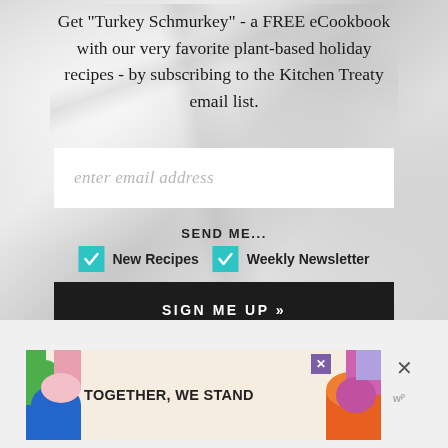Get "Turkey Schmurkey" - a FREE eCookbook with our very favorite plant-based holiday recipes - by subscribing to the Kitchen Treaty email list.
[Figure (screenshot): Email signup form with marble background, text input field with placeholder 'enter email address', SEND ME... label with two checked teal checkboxes for 'New Recipes' and 'Weekly Newsletter', and a black 'SIGN ME UP »' button]
[Figure (infographic): Advertisement banner with colorful shapes reading 'TOGETHER, WE STAND' with close buttons and Wordpresss logo]